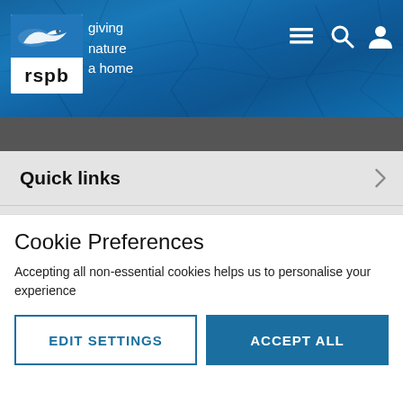[Figure (logo): RSPB logo with bird silhouette on blue background and tagline 'giving nature a home']
Quick links
Information for
Our work in
Cookie Preferences
Accepting all non-essential cookies helps us to personalise your experience